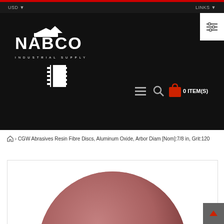NABCO Industrial Supply - e-commerce header
[Figure (screenshot): NABCO Industrial Supply website header with black background, white NABCO logo with industrial supply text, navigation icons (hamburger menu, search, shopping bag showing 0 ITEM(S)), USD currency selector top left, LINKS top right, and a filter/settings icon in white box top right]
> CGW Abrasives Resin Fibre Discs, Aluminum Oxide, Arbor Diam [Nom]:7/8 in, Grit:120
[Figure (photo): Close-up photo of a round reddish-brown resin fibre abrasive disc with textured surface, partially visible at the bottom of the page]